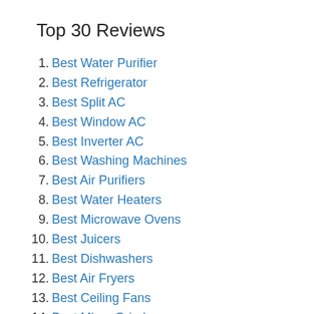Top 30 Reviews
1. Best Water Purifier
2. Best Refrigerator
3. Best Split AC
4. Best Window AC
5. Best Inverter AC
6. Best Washing Machines
7. Best Air Purifiers
8. Best Water Heaters
9. Best Microwave Ovens
10. Best Juicers
11. Best Dishwashers
12. Best Air Fryers
13. Best Ceiling Fans
14. Best Mixer Grinder
15. Best Vacuum Cleaner